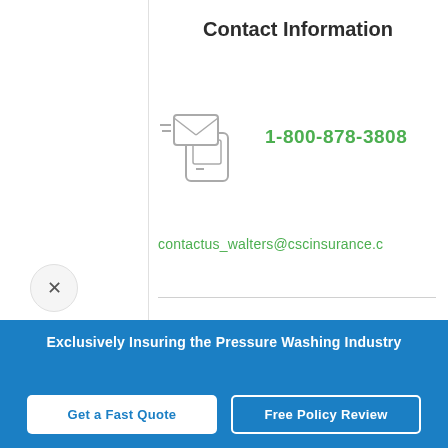Contact Information
[Figure (illustration): Icon showing an envelope with a phone/mobile device behind it, representing contact methods]
1-800-878-3808
contactus_walters@cscinsurance.c
[Figure (illustration): Document with pen icon on a light blue rounded card, representing starting a quote]
Start Quote
Exclusively Insuring the Pressure Washing Industry
Get a Fast Quote
Free Policy Review